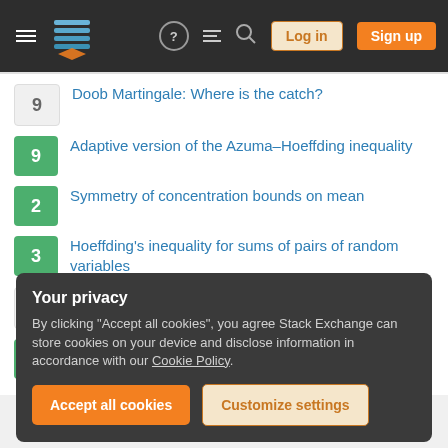Stack Exchange navigation bar with Log in and Sign up buttons
9 — Doob Martingale: Where is the catch?
9 — Adaptive version of the Azuma–Hoeffding inequality
2 — Symmetry of concentration bounds on mean
3 — Hoeffding's inequality for sums of pairs of random variables
7 — Martingale version of Bernstein-type inequality for (slightly) heavy-tailed distributions?
7 — Chernoff-type bounds for a stopped sum of independent random variables
Your privacy
By clicking "Accept all cookies", you agree Stack Exchange can store cookies on your device and disclose information in accordance with our Cookie Policy.
Accept all cookies | Customize settings